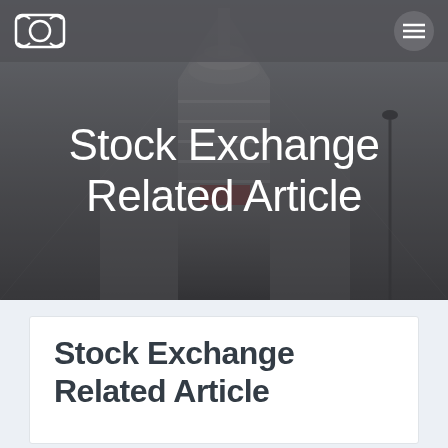Stock Exchange Related Article — navigation header with logo and menu
[Figure (photo): Upward-angle photograph of a tall stock exchange building exterior against a grey sky, with architectural tower elements visible. Dark semi-transparent overlay applied.]
Stock Exchange Related Article
Stock Exchange Related Article